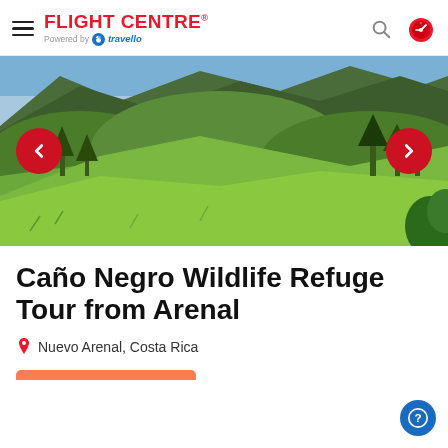FLIGHT CENTRE® Powered by travello
[Figure (photo): Lush green hillside landscape with mountains in background, Costa Rica nature scenery]
Caño Negro Wildlife Refuge Tour from Arenal
Nuevo Arenal, Costa Rica